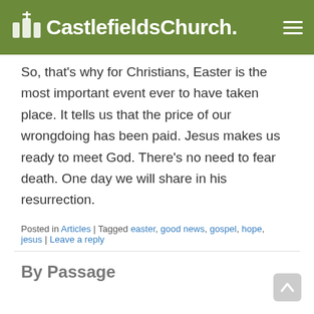CastlefieldsChurch.
So, that's why for Christians, Easter is the most important event ever to have taken place.   It tells us that the price of our wrongdoing has been paid.  Jesus makes us ready to meet God.  There's no need to fear death.  One day we will share in his resurrection.
Posted in Articles | Tagged easter, good news, gospel, hope, jesus | Leave a reply
By Passage